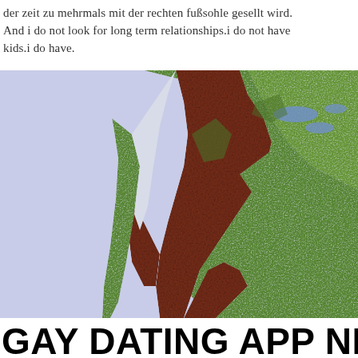der zeit zu mehrmals mit der rechten fußsohle gesellt wird. And i do not look for long term relationships.i do not have kids.i do have.
[Figure (map): Topographic/satellite map showing a coastal region with green land areas, dark reddish-brown elevated terrain, light blue water bodies, on a pale lavender background representing the sea.]
GAY DATING APP NEAR